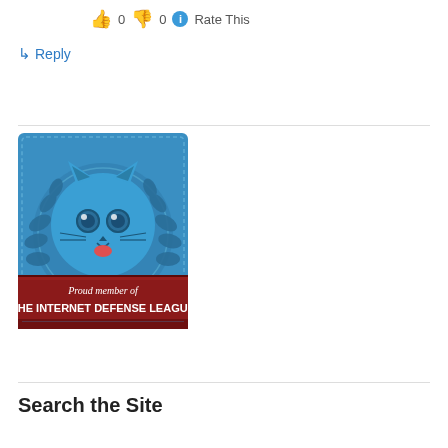👍 0 👎 0 ℹ Rate This
↳ Reply
[Figure (illustration): Internet Defense League badge: blue badge with a cartoon cat face in a circular medallion with leaf decorations, red banner at bottom reading 'Proud member of THE INTERNET DEFENSE LEAGUE']
Search the Site